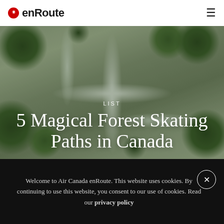enRoute
[Figure (photo): Aerial view of snow-covered forest paths intersecting, with evergreen trees dusted in snow, viewed from above.]
LIST
5 Magical Forest Skating Paths in Canada
Welcome to Air Canada enRoute. This website uses cookies. By continuing to use this website, you consent to our use of cookies. Read our privacy policy